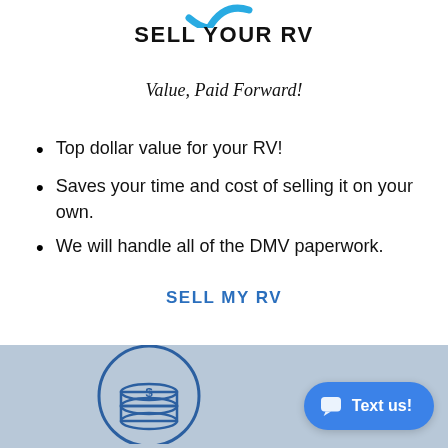[Figure (logo): Partial blue checkmark/logo at top of page]
SELL YOUR RV
Value, Paid Forward!
Top dollar value for your RV!
Saves your time and cost of selling it on your own.
We will handle all of the DMV paperwork.
SELL MY RV
[Figure (illustration): Blue circle icon with stack of coins (dollar sign) at bottom of page on light blue background]
Text us!